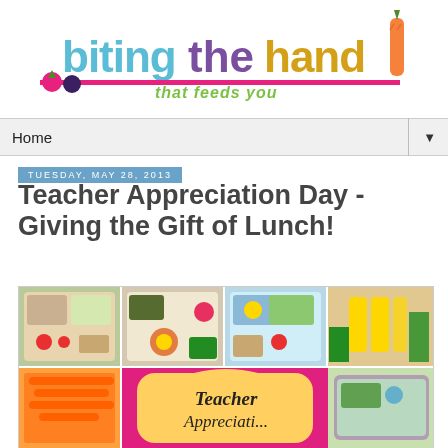[Figure (logo): Blog logo: 'biting the hand that feeds you' with colorful text and fruit/carrot graphics and a pink horizontal line]
Home ▼
Tuesday, May 28, 2013
Teacher Appreciation Day - Giving the Gift of Lunch!
[Figure (photo): Collage of lunch box photos showing bento-style meals with vegetables, fruits, and meats, plus a center card reading 'Teacher Appreciation']